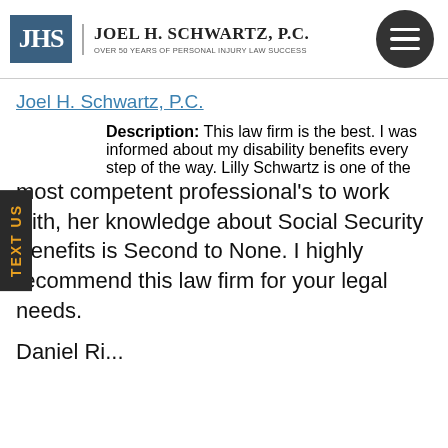[Figure (logo): Joel H. Schwartz P.C. law firm logo with JHS initials in blue box, firm name, tagline 'Over 50 Years of Personal Injury Law Success', and hamburger menu circle]
Joel H. Schwartz, P.C.
Description: This law firm is the best. I was informed about my disability benefits every step of the way. Lilly Schwartz is one of the most competent professional's to work with, her knowledge about Social Security Benefits is Second to None. I highly recommend this law firm for your legal needs.
Daniel Ri...